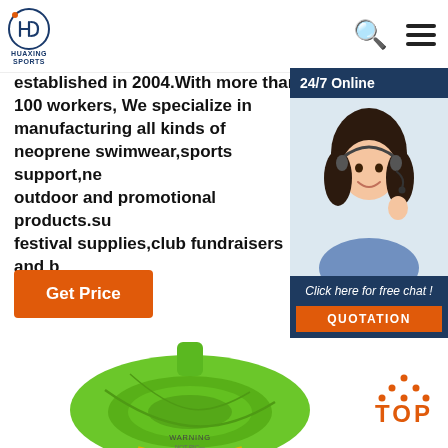[Figure (logo): Huaxing Sports logo — circular emblem with letters, company name below]
established in 2004.With more than 100 workers, We specialize in manufacturing all kinds of neoprene swimwear,sports support,ne outdoor and promotional products.su festival supplies,club fundraisers and b awareness.
Get Price
[Figure (photo): 24/7 Online customer service widget with a smiling woman wearing a headset. Bottom section reads 'Click here for free chat!' with an orange QUOTATION button.]
[Figure (photo): Green neoprene product (swim float or seat) with WARNING text at bottom]
[Figure (other): Orange TOP button with upward-pointing dots/arrow icon]